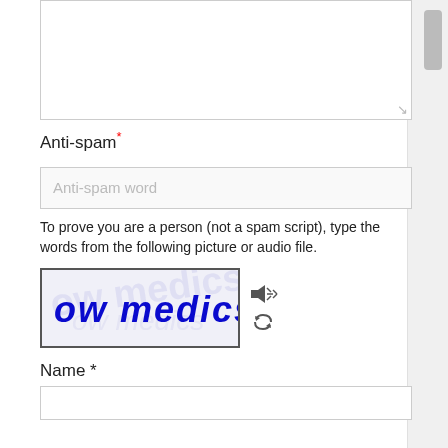[Figure (screenshot): A large empty textarea input field with a resize handle in the bottom right corner]
Anti-spam*
[Figure (screenshot): An input field with placeholder text 'Anti-spam word']
To prove you are a person (not a spam script), type the words from the following picture or audio file.
[Figure (photo): CAPTCHA image showing handwritten blue text 'ow medics' with audio and refresh icons to the right]
Name *
[Figure (screenshot): An empty text input field for Name]